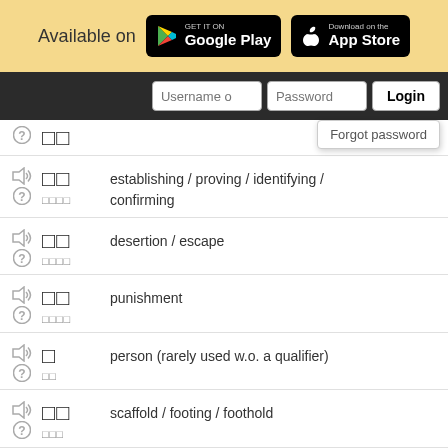[Figure (screenshot): Top banner with 'Available on' text and Google Play / App Store badges]
[Figure (screenshot): Navigation bar with Username, Password fields and Login button, Forgot password dropdown]
establishing / proving / identifying / confirming
desertion / escape
punishment
person (rarely used w.o. a qualifier)
scaffold / footing / foothold
use / utilization / utilisation / application